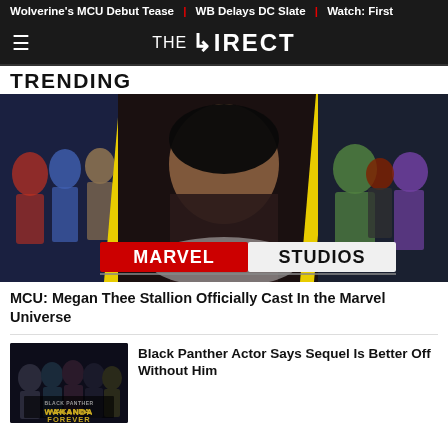Wolverine's MCU Debut Tease | WB Delays DC Slate | Watch: First
THE DIRECT
TRENDING
[Figure (photo): Composite image showing MCU Avengers characters on either side, center image of Megan Thee Stallion, with Marvel Studios logo overlay at bottom]
MCU: Megan Thee Stallion Officially Cast In the Marvel Universe
[Figure (photo): Black Panther Wakanda Forever movie poster with cast members]
Black Panther Actor Says Sequel Is Better Off Without Him